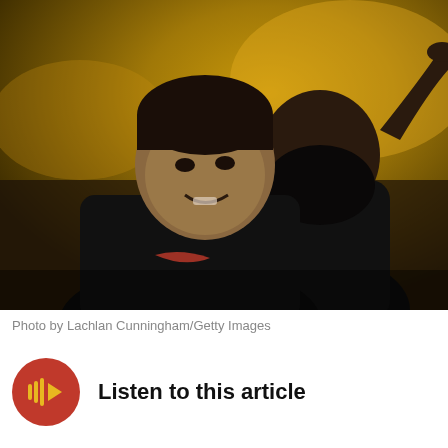[Figure (photo): Two NBA players in black Nike shirts. One man smiling in foreground, another man with large beard pointing upward in background. Golden/yellow blurred crowd visible behind them.]
Photo by Lachlan Cunningham/Getty Images
Listen to this article